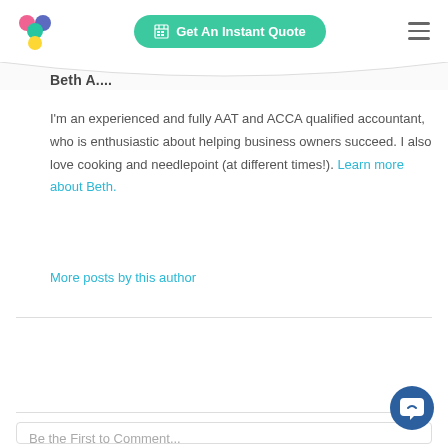[Figure (logo): Colorful four-circle logo (pink, teal, blue, yellow)]
Get An Instant Quote
Beth A....
I'm an experienced and fully AAT and ACCA qualified accountant, who is enthusiastic about helping business owners succeed. I also love cooking and needlepoint (at different times!). Learn more about Beth.
More posts by this author
Be the First to Comment...